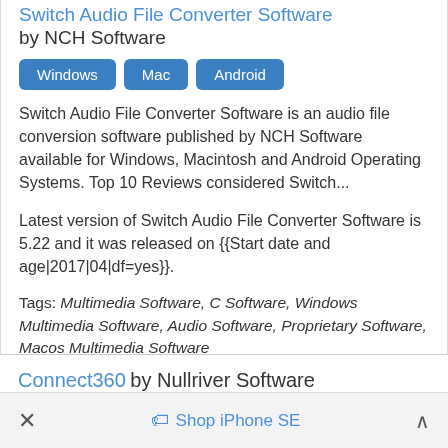Switch Audio File Converter Software by NCH Software
[Figure (other): Platform badge buttons: Windows, Mac, Android]
Switch Audio File Converter Software is an audio file conversion software published by NCH Software available for Windows, Macintosh and Android Operating Systems. Top 10 Reviews considered Switch...
Latest version of Switch Audio File Converter Software is 5.22 and it was released on {{Start date and age|2017|04|df=yes}}.
Tags: Multimedia Software, C Software, Windows Multimedia Software, Audio Software, Proprietary Software, Macos Multimedia Software
Connect360 by Nullriver Software
× Shop iPhone SE ^